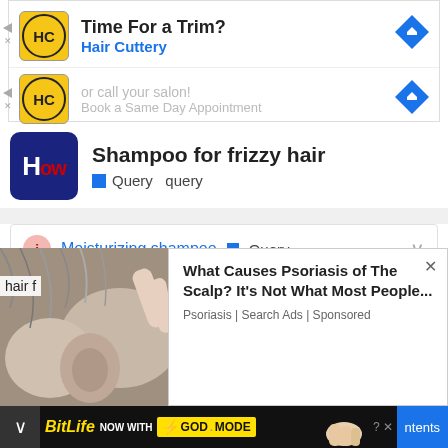[Figure (screenshot): Hair Cuttery ad - Time For a Trim with HC logo and blue arrow icon]
[Figure (screenshot): Hair Cuttery ad - or call your salon! Book a Same Day Appointment with HC logo and blue arrow icon]
Shampoo for frizzy hair
Query  query
Moisturizing shampoo  Query
Moisturizing shampoo [Best Conditioning, Hydrating Shampoos You Should Try | Style Domination by Dominique Baker] What are the best brands of shampoo? Some of the best brands of professional shampoos include Redken,
[Figure (photo): Close-up photo of a person's scalp and ear with grey hair being touched]
hair f
What Causes Psoriasis of The Scalp? It's Not What Most People... Psoriasis | Search Ads | Sponsored
[Figure (screenshot): BitLife banner ad - NOW WITH GOD MODE with lightning bolt and finger pointing graphic]